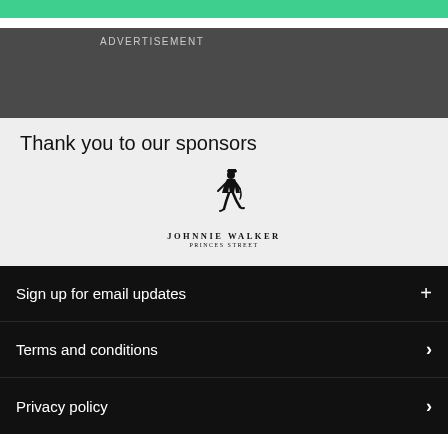[Figure (other): Green navigation bar at top]
ADVERTISEMENT
Thank you to our sponsors
[Figure (logo): Johnnie Walker Princes Street logo with striding man figure]
Sign up for email updates
Terms and conditions
Privacy policy